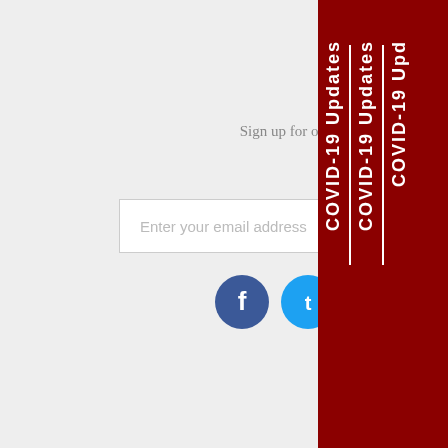» Get Ready for Winter – This Summer!
Read More »
Stay Connected
Sign up for our newsletter to receive a free guide to replacement windows and awnings.
[Figure (other): Email newsletter signup form with text input and green Submit button]
[Figure (other): Social media icons: Facebook, Twitter, YouTube, Pinterest, Instagram, Houzz, Email]
Contact Us
(610) 384-5820
Milanese@MilaneseRemodeling.com